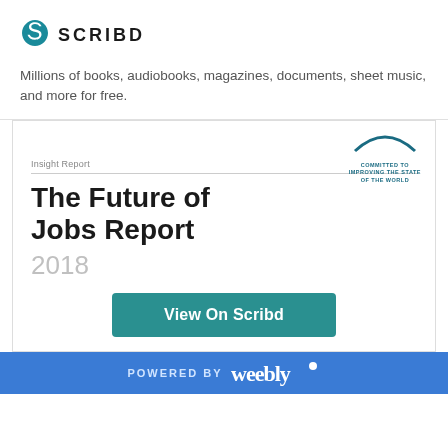[Figure (logo): Scribd logo with teal stylized S icon and SCRIBD wordmark in bold black letters]
Millions of books, audiobooks, magazines, documents, sheet music, and more for free.
[Figure (screenshot): Preview of 'The Future of Jobs Report 2018' document cover with WEF logo, Insight Report label, title, year 2018, and a teal 'View On Scribd' button]
1 of 147
POWERED BY weebly